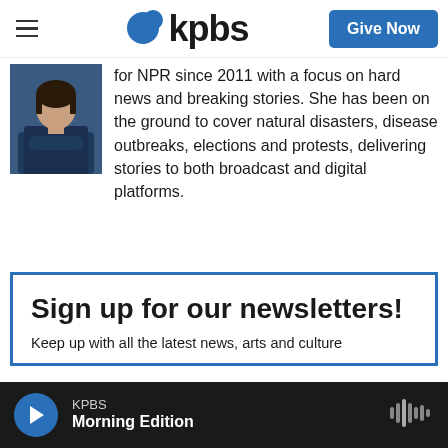kpbs | Give Now
[Figure (photo): Woman in dark blue top with arms crossed, professional headshot]
for NPR since 2011 with a focus on hard news and breaking stories. She has been on the ground to cover natural disasters, disease outbreaks, elections and protests, delivering stories to both broadcast and digital platforms.
Sign up for our newsletters!
Keep up with all the latest news, arts and culture
KPBS Morning Edition